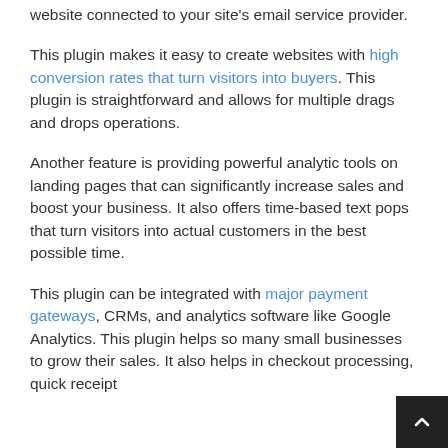website connected to your site's email service provider.
This plugin makes it easy to create websites with high conversion rates that turn visitors into buyers. This plugin is straightforward and allows for multiple drags and drops operations.
Another feature is providing powerful analytic tools on landing pages that can significantly increase sales and boost your business. It also offers time-based text pops that turn visitors into actual customers in the best possible time.
This plugin can be integrated with major payment gateways, CRMs, and analytics software like Google Analytics. This plugin helps so many small businesses to grow their sales. It also helps in checkout processing, quick receipt